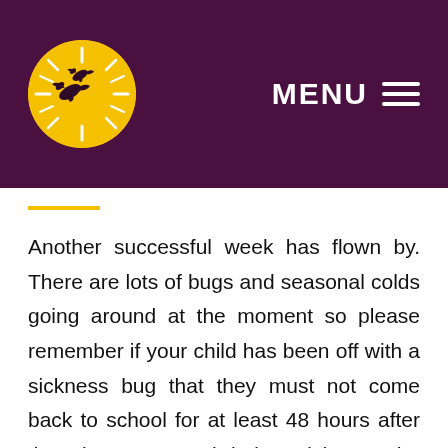[Figure (logo): Circular yellow logo with flying geese silhouettes and sun rays, set on a dark purple header bar with MENU text and hamburger icon on the right]
Another successful week has flown by. There are lots of bugs and seasonal colds going around at the moment so please remember if your child has been off with a sickness bug that they must not come back to school for at least 48 hours after they have stopped being sick. As the weather is turning colder, please ensure children have a coat for outside, especially in the